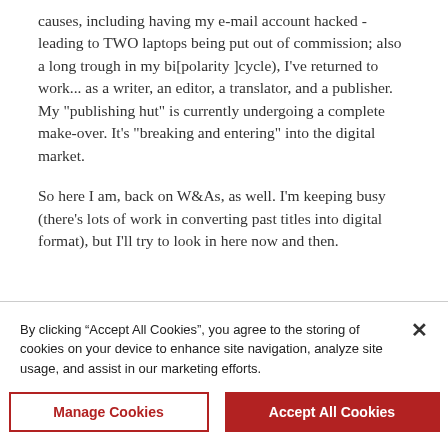causes, including having my e-mail account hacked - leading to TWO laptops being put out of commission; also a long trough in my bi[polarity ]cycle), I've returned to work... as a writer, an editor, a translator, and a publisher. My "publishing hut" is currently undergoing a complete make-over. It's "breaking and entering" into the digital market.

So here I am, back on W&As, as well. I'm keeping busy (there's lots of work in converting past titles into digital format), but I'll try to look in here now and then.
1 replies
By clicking “Accept All Cookies”, you agree to the storing of cookies on your device to enhance site navigation, analyze site usage, and assist in our marketing efforts.